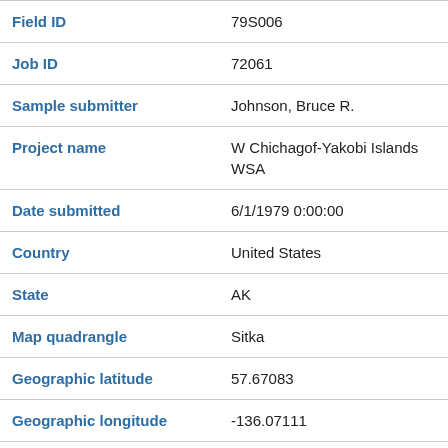| Field | Value |
| --- | --- |
| Field ID | 79S006 |
| Job ID | 72061 |
| Sample submitter | Johnson, Bruce R. |
| Project name | W Chichagof-Yakobi Islands WSA |
| Date submitted | 6/1/1979 0:00:00 |
| Country | United States |
| State | AK |
| Map quadrangle | Sitka |
| Geographic latitude | 57.67083 |
| Geographic longitude | -136.07111 |
| loc_desc | Helene Chichagof |
| Primary media type | rock |
| Secondary media | unspecified |